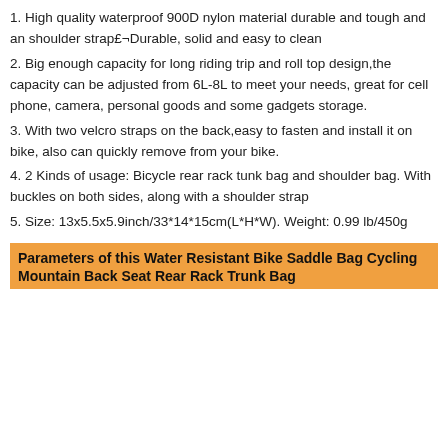1. High quality waterproof 900D nylon material durable and tough and an shoulder strap£¬Durable, solid and easy to clean
2. Big enough capacity for long riding trip and roll top design,the capacity can be adjusted from 6L-8L to meet your needs, great for cell phone, camera, personal goods and some gadgets storage.
3. With two velcro straps on the back,easy to fasten and install it on bike, also can quickly remove from your bike.
4. 2 Kinds of usage: Bicycle rear rack tunk bag and shoulder bag. With buckles on both sides, along with a shoulder strap
5. Size: 13x5.5x5.9inch/33*14*15cm(L*H*W). Weight: 0.99 lb/450g
Parameters of this Water Resistant Bike Saddle Bag Cycling Mountain Back Seat Rear Rack Trunk Bag